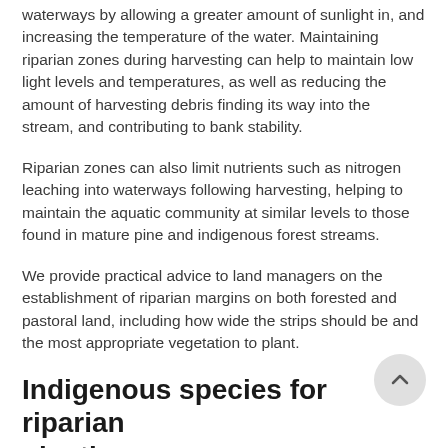waterways by allowing a greater amount of sunlight in, and increasing the temperature of the water. Maintaining riparian zones during harvesting can help to maintain low light levels and temperatures, as well as reducing the amount of harvesting debris finding its way into the stream, and contributing to bank stability.
Riparian zones can also limit nutrients such as nitrogen leaching into waterways following harvesting, helping to maintain the aquatic community at similar levels to those found in mature pine and indigenous forest streams.
We provide practical advice to land managers on the establishment of riparian margins on both forested and pastoral land, including how wide the strips should be and the most appropriate vegetation to plant.
Indigenous species for riparian planting